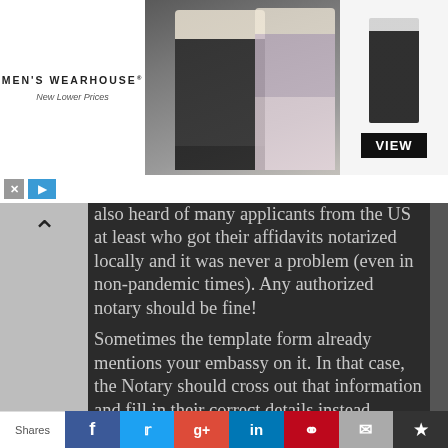[Figure (photo): Men's Wearhouse advertisement banner showing a couple in formal wear and a tuxedo mannequin with a VIEW button]
also heard of many applicants from the US at least who got their affidavits notarized locally and it was never a problem (even in non-pandemic times). Any authorized notary should be fine!
Sometimes the template form already mentions your embassy on it. In that case, the Notary should cross out that information and fill in their correct details instead.
[Figure (infographic): Social share bar with icons for Facebook, Twitter, Google+, LinkedIn, Pinterest, Email, and Bookmark]